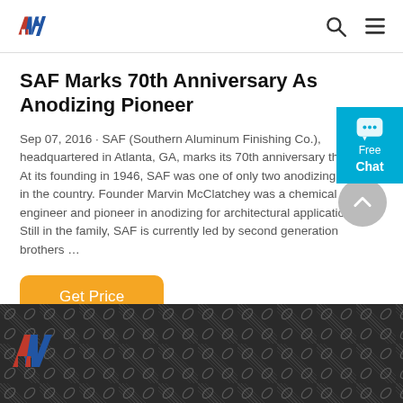AAN logo, search icon, menu icon
SAF Marks 70th Anniversary As Anodizing Pioneer
Sep 07, 2016 · SAF (Southern Aluminum Finishing Co.), headquartered in Atlanta, GA, marks its 70th anniversary this fall. At its founding in 1946, SAF was one of only two anodizing lines in the country. Founder Marvin McClatchey was a chemical engineer and pioneer in anodizing for architectural applications. Still in the family, SAF is currently led by second generation brothers ...
[Figure (screenshot): Orange 'Get Price' button]
[Figure (screenshot): Cyan Free Chat widget on right edge]
[Figure (photo): Textured aluminum/metal surface photo at bottom with AAN logo overlay]
[Figure (logo): AAN logo bottom left over photo]